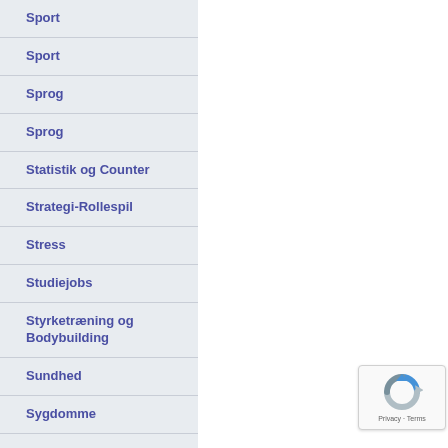Sport
Sport
Sprog
Sprog
Statistik og Counter
Strategi-Rollespil
Stress
Studiejobs
Styrketræning og Bodybuilding
Sundhed
Sygdomme
[Figure (logo): reCAPTCHA badge with Privacy and Terms text]